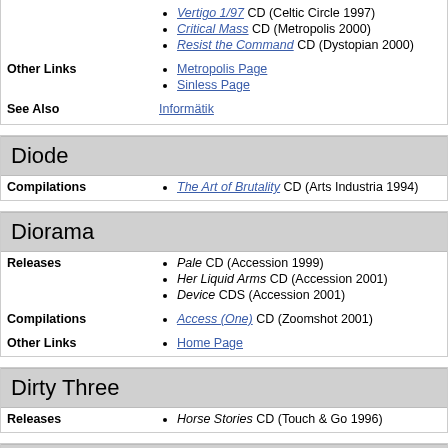Vertigo 1/97 CD (Celtic Circle 1997)
Critical Mass CD (Metropolis 2000)
Resist the Command CD (Dystopian 2000)
Other Links: Metropolis Page
Other Links: Sinless Page
See Also: Informatik
Diode
Compilations: The Art of Brutality CD (Arts Industria 1994)
Diorama
Releases: Pale CD (Accession 1999)
Releases: Her Liquid Arms CD (Accession 2001)
Releases: Device CDS (Accession 2001)
Compilations: Access (One) CD (Zoomshot 2001)
Other Links: Home Page
Dirty Three
Releases: Horse Stories CD (Touch & Go 1996)
Disastrous Din